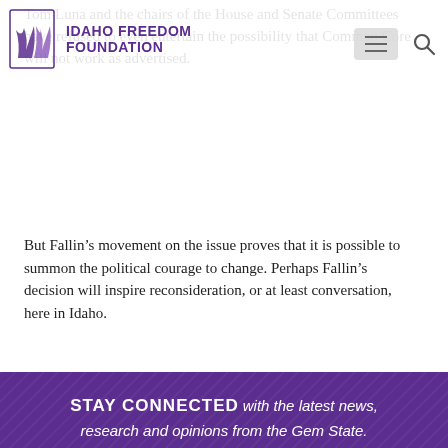Idaho Freedom Foundation — navigation header with logo, hamburger menu and search icon
Tom Luna and the chairs of the House and Senate Committees have refused to even entertain the possibility that Common Core will not work as advertised.
But Fallin's movement on the issue proves that it is possible to summon the political courage to change. Perhaps Fallin's decision will inspire reconsideration, or at least conversation, here in Idaho.
[Figure (infographic): Purple banner with diagonal stripe texture. Contains 'STAY CONNECTED with the latest news, research and opinions from the Gem State.' heading, a First Name input field, and a back-to-top arrow button.]